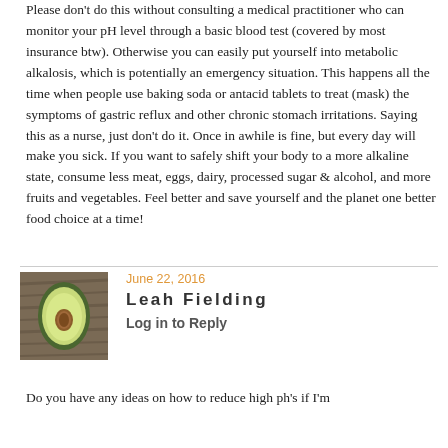Please don't do this without consulting a medical practitioner who can monitor your pH level through a basic blood test (covered by most insurance btw). Otherwise you can easily put yourself into metabolic alkalosis, which is potentially an emergency situation. This happens all the time when people use baking soda or antacid tablets to treat (mask) the symptoms of gastric reflux and other chronic stomach irritations. Saying this as a nurse, just don't do it. Once in awhile is fine, but every day will make you sick. If you want to safely shift your body to a more alkaline state, consume less meat, eggs, dairy, processed sugar & alcohol, and more fruits and vegetables. Feel better and save yourself and the planet one better food choice at a time!
[Figure (photo): Profile photo of Leah Fielding showing an avocado cut in half on a wooden surface background]
June 22, 2016
Leah Fielding
Log in to Reply
Do you have any ideas on how to reduce high ph's if I'm